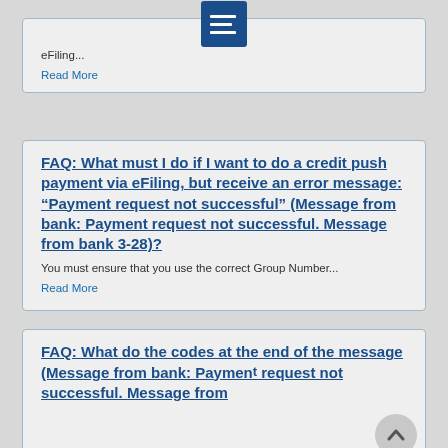[Figure (other): Blue icon with three horizontal white lines (hamburger/document icon)]
eFiling...
Read More
FAQ: What must I do if I want to do a credit push payment via eFiling, but receive an error message: “Payment request not successful” (Message from bank: Payment request not successful. Message from bank 3-28)?
You must ensure that you use the correct Group Number...
Read More
FAQ: What do the codes at the end of the message (Message from bank: Payment request not successful. Message from